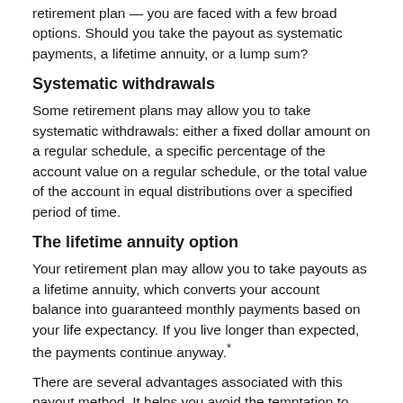retirement plan — you are faced with a few broad options. Should you take the payout as systematic payments, a lifetime annuity, or a lump sum?
Systematic withdrawals
Some retirement plans may allow you to take systematic withdrawals: either a fixed dollar amount on a regular schedule, a specific percentage of the account value on a regular schedule, or the total value of the account in equal distributions over a specified period of time.
The lifetime annuity option
Your retirement plan may allow you to take payouts as a lifetime annuity, which converts your account balance into guaranteed monthly payments based on your life expectancy. If you live longer than expected, the payments continue anyway.*
There are several advantages associated with this payout method. It helps you avoid the temptation to spend a significant amount of your assets at one time and the